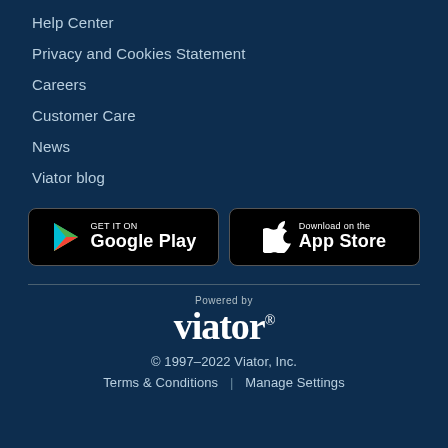Help Center
Privacy and Cookies Statement
Careers
Customer Care
News
Viator blog
[Figure (screenshot): Google Play Store badge - GET IT ON Google Play]
[Figure (screenshot): Apple App Store badge - Download on the App Store]
Powered by
viator®
© 1997–2022 Viator, Inc.
Terms & Conditions | Manage Settings